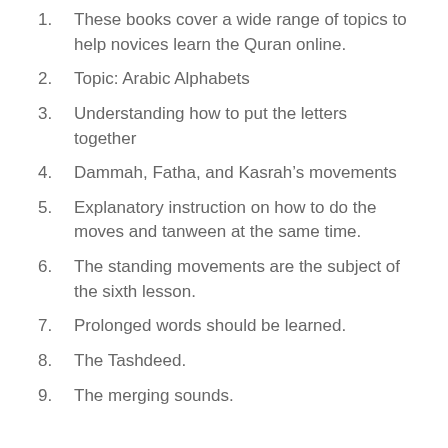1. These books cover a wide range of topics to help novices learn the Quran online.
2. Topic: Arabic Alphabets
3. Understanding how to put the letters together
4. Dammah, Fatha, and Kasrah’s movements
5. Explanatory instruction on how to do the moves and tanween at the same time.
6. The standing movements are the subject of the sixth lesson.
7. Prolonged words should be learned.
8. The Tashdeed.
9. The merging sounds.